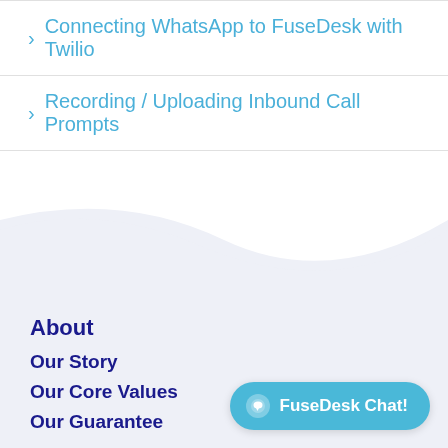> Connecting WhatsApp to FuseDesk with Twilio
> Recording / Uploading Inbound Call Prompts
[Figure (illustration): Decorative wave divider between white content area above and light purple/blue footer section below]
About
Our Story
Our Core Values
Our Guarantee
FuseDesk Chat!